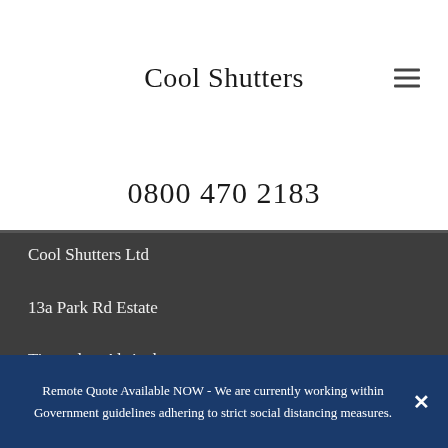Cool Shutters
0800 470 2183
Cool Shutters Ltd
13a Park Rd Estate
Timperley, Altrincham,
WA14 5QH
T: 0800 470 2183
Remote Quote Available NOW - We are currently working within Government guidelines adhering to strict social distancing measures.